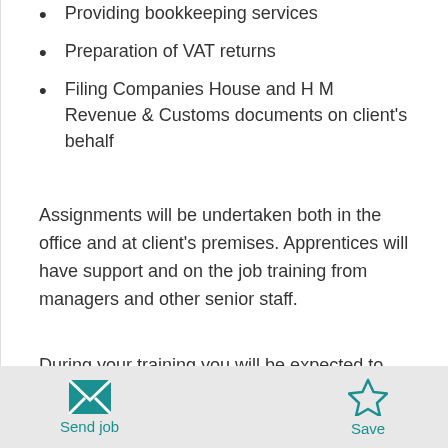Providing bookkeeping services
Preparation of VAT returns
Filing Companies House and H M Revenue & Customs documents on client's behalf
Assignments will be undertaken both in the office and at client's premises. Apprentices will have support and on the job training from managers and other senior staff.
During your training you will be expected to develop an understanding of the practical issues involved in
Send job  Save